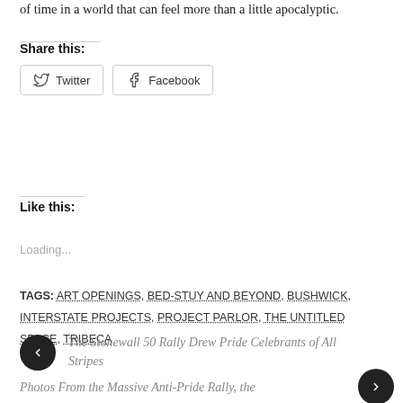of time in a world that can feel more than a little apocalyptic.
Share this:
Twitter  Facebook
Like this:
Loading...
TAGS: ART OPENINGS, BED-STUY AND BEYOND, BUSHWICK, INTERSTATE PROJECTS, PROJECT PARLOR, THE UNTITLED SPACE, TRIBECA
« The Stonewall 50 Rally Drew Pride Celebrants of All Stripes
Photos From the Massive Anti-Pride Rally, the »